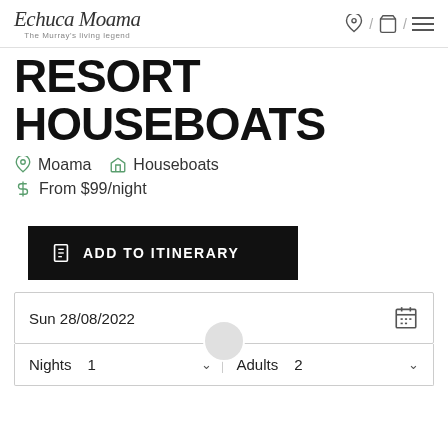Echuca Moama — The Murray's living legend
RESORT HOUSEBOATS
Moama   Houseboats
From $99/night
ADD TO ITINERARY
Sun 28/08/2022
Nights  1    Adults  2